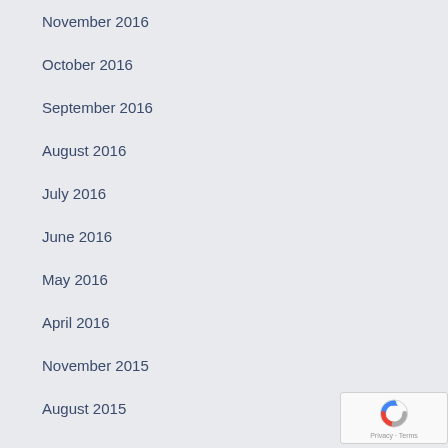November 2016
October 2016
September 2016
August 2016
July 2016
June 2016
May 2016
April 2016
November 2015
August 2015